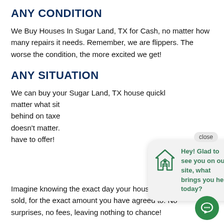ANY CONDITION
We Buy Houses In Sugar Land, TX for Cash, no matter how many repairs it needs. Remember, we are flippers. The worse the condition, the more excited we get!
ANY SITUATION
We can buy your Sugar Land, TX house quickly, no matter what situation you are in. Whether you are behind on taxes, going through a divorce, or any other issue, it doesn't matter. We will look at your house and make you the best offer we have to offer!
[Figure (screenshot): Chat popup overlay with house icon and text: Hey! Glad to see you on our site, what brings you here today? with a close button]
Imagine knowing the exact day your house would be sold, for the exact amount you have agreed to. No surprises, no fees, leaving nothing to chance!